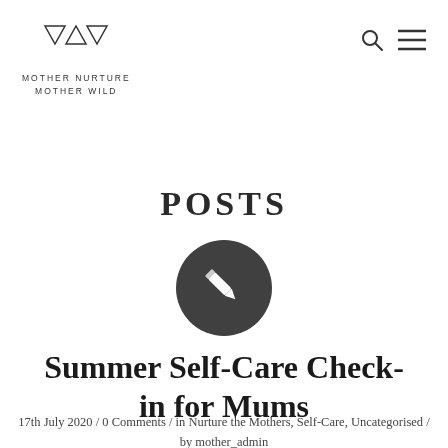MOTHER NURTURE MOTHER WILD
POSTS
[Figure (illustration): Dark grey circle with a white pencil/edit icon in the center]
Summer Self-Care Check-in for Mums
17th July 2020 / 0 Comments / in Nurture the Mothers, Self-Care, Uncategorised / by mother_admin